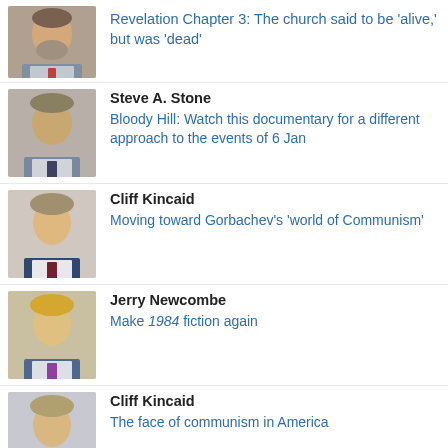Revelation Chapter 3: The church said to be 'alive,' but was 'dead'
Steve A. Stone
Bloody Hill: Watch this documentary for a different approach to the events of 6 Jan
Cliff Kincaid
Moving toward Gorbachev's 'world of Communism'
Jerry Newcombe
Make 1984 fiction again
Cliff Kincaid
The face of communism in America
Tom DeWeese
Election fraud update: Pennsylvania steps up the steal
Steve A. Stone
NIH web pages contain some very interesting information